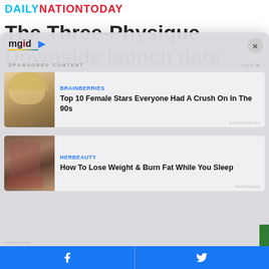DAILYNATIONTODAY
The Three-Physique Downside launch date
[Figure (screenshot): MGID sponsored content widget modal overlay showing two article cards: 1) BRAINBERRIES - Top 10 Female Stars Everyone Had A Crush On In The 90s, with thumbnail of blonde woman. 2) HERBEAUTY - How To Lose Weight & Burn Fat While You Sleep, with fashion thumbnail.]
BRAINBERRIES — Top 10 Female Stars Everyone Had A Crush On In The 90s
HERBEAUTY — How To Lose Weight & Burn Fat While You Sleep
Facebook share | Twitter share